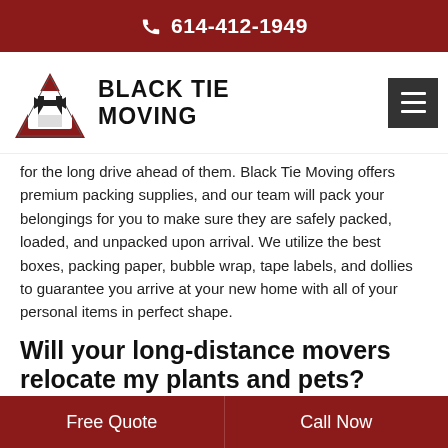614-412-1949
[Figure (logo): Black Tie Moving logo with triangle/bow-tie graphic and hamburger menu button]
for the long drive ahead of them. Black Tie Moving offers premium packing supplies, and our team will pack your belongings for you to make sure they are safely packed, loaded, and unpacked upon arrival. We utilize the best boxes, packing paper, bubble wrap, tape labels, and dollies to guarantee you arrive at your new home with all of your personal items in perfect shape.
Will your long-distance movers relocate my plants and pets?
While some plants can be relocated by our team safely, we recommend that your furry companions stay with you in your vehicle. That will allow you to provide them with necessities such as food, water, any necessary medications, treats, and a comfortable carrier.
Free Quote    Call Now